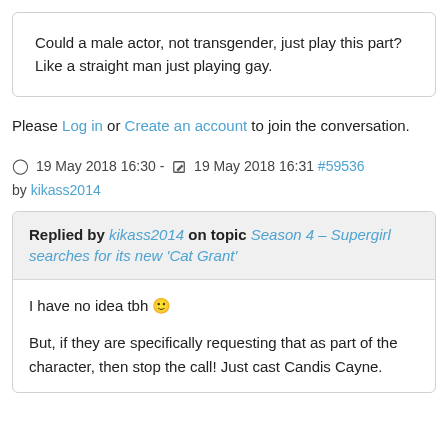Could a male actor, not transgender, just play this part? Like a straight man just playing gay.
Please Log in or Create an account to join the conversation.
🕐 19 May 2018 16:30 - ✎ 19 May 2018 16:31 #59536 by kikass2014
Replied by kikass2014 on topic Season 4 – Supergirl searches for its new 'Cat Grant'
I have no idea tbh 🙂
But, if they are specifically requesting that as part of the character, then stop the call! Just cast Candis Cayne.